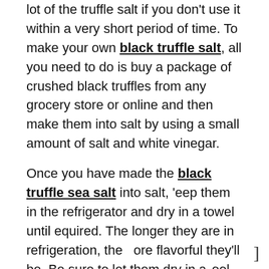lot of the truffle salt if you don't use it within a very short period of time. To make your own black truffle salt, all you need to do is buy a package of crushed black truffles from any grocery store or online and then make them into salt by using a small amount of salt and white vinegar.
Once you have made the black truffle sea salt into salt, keep them in the refrigerator and dry in a towel until required. The longer they are in refrigeration, the more flavorful they'll be. Be sure to let them dry in a cool place, away from heat and direct sunlight. When they're dry enough to hold the taste of the salt, then you can add them to a little oil, honey, and shake it's ready to eat.